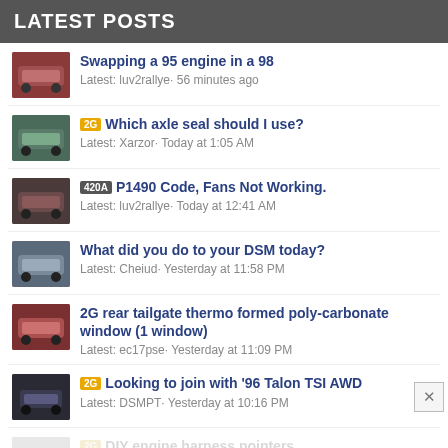LATEST POSTS
Swapping a 95 engine in a 98
Latest: luv2rallye· 56 minutes ago
2G Which axle seal should I use?
Latest: Xarzor· Today at 1:05 AM
420A P1490 Code, Fans Not Working.
Latest: luv2rallye· Today at 12:41 AM
What did you do to your DSM today?
Latest: Cheiud· Yesterday at 11:58 PM
2G rear tailgate thermo formed poly-carbonate window (1 window)
Latest: ec17pse· Yesterday at 11:09 PM
2G Looking to join with '96 Talon TSI AWD
Latest: DSMPT· Yesterday at 10:16 PM
2G DIY engine harness pointers
Latest: Hickory-NC-2Ggsx· Yesterday at 9:42 PM